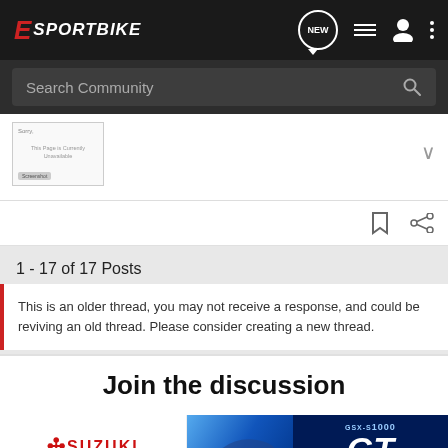E SPORTBIKE
Search Community
[Figure (screenshot): Thumbnail of a document page with unavailable image notice]
1 - 17 of 17 Posts
This is an older thread, you may not receive a response, and could be reviving an old thread. Please consider creating a new thread.
Join the discussion
[Figure (photo): Suzuki GSX-S1000GT advertisement banner showing a motorcycle rider and the GT model name with 'SEE IT NOW' call to action]